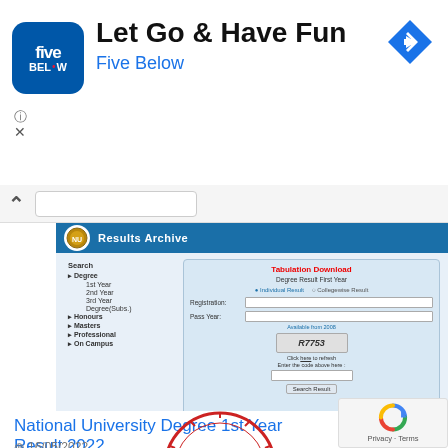[Figure (screenshot): Advertisement banner for Five Below app — 'Let Go & Have Fun' with Five Below logo and navigation icon]
Let Go & Have Fun
Five Below
[Figure (screenshot): Screenshot of National University Bangladesh Results Archive website showing a form for Degree Result First Year with Individual Result / Collegewise Result radio buttons, Registration, Pass Year fields, CAPTCHA code R7753, and Search Result button. Left nav shows Degree, Honours, Masters, Professional, On Campus options.]
National University Degree 1st Year Result 2022
nu.ac.bd/results
16/05/2022
[Figure (photo): Partial view of university circular logo/seal at the bottom of the page]
[Figure (logo): Google reCAPTCHA widget with Privacy and Terms links]